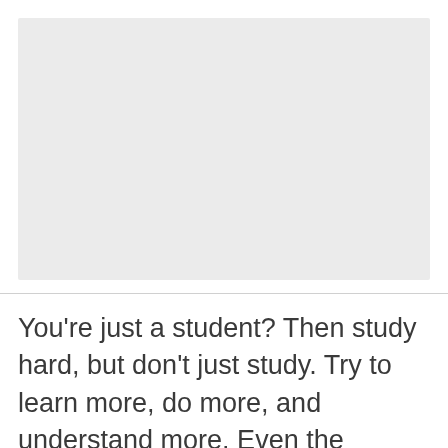[Figure (other): A large blank/empty image placeholder area with light gray background]
You're just a student? Then study hard, but don't just study. Try to learn more, do more, and understand more. Even the youngest minds can be capable of doing great things. After learning and studying, give back as soon as you can. Use what you learn for the